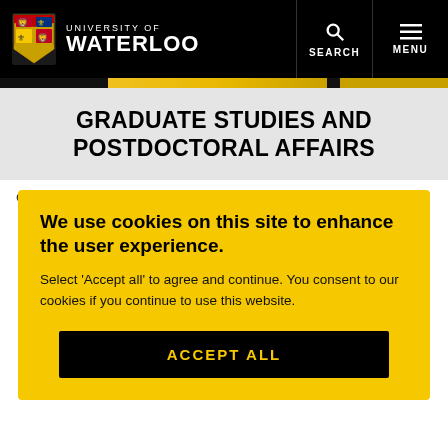UNIVERSITY OF WATERLOO | SEARCH | MENU
GRADUATE STUDIES AND POSTDOCTORAL AFFAIRS
Graduate Studies and Postdoctoral Affairs » People profiles »
Graduate student profiles
We use cookies on this site to enhance the user experience.
Select 'Accept all' to agree and continue. You consent to our cookies if you continue to use this website.
ACCEPT ALL